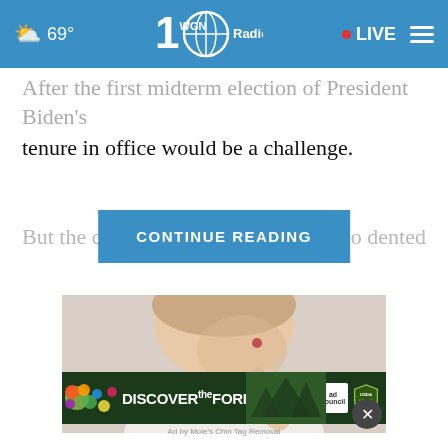69° WGN Radio 100 • LIVE
After the first midterm election of President Biden's tenure in office would be a challenge.
But the cascad... so dented
[Figure (photo): Close-up of a young woman pointing to a pimple on her chin/cheek, against a light background]
[Figure (infographic): DISCOVERtheFOREST.org advertisement banner with ad council and US Forest Service logos]